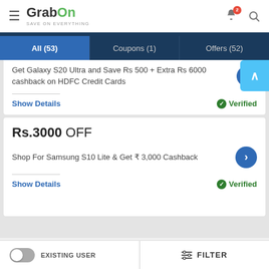[Figure (screenshot): GrabOn mobile app header with hamburger menu, GrabOn logo, notification bell with badge showing 2, and search icon]
All (53) | Coupons (1) | Offers (52)
Get Galaxy S20 Ultra and Save Rs 500 + Extra Rs 6000 cashback on HDFC Credit Cards
Show Details
Verified
Rs.3000 OFF
Shop For Samsung S10 Lite & Get ₹ 3,000 Cashback
Show Details
Verified
EXISTING USER
FILTER